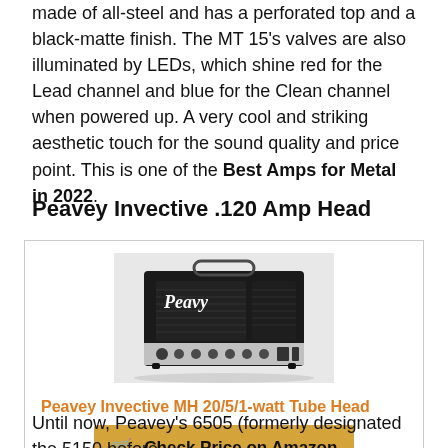made of all-steel and has a perforated top and a black-matte finish. The MT 15's valves are also illuminated by LEDs, which shine red for the Lead channel and blue for the Clean channel when powered up. A very cool and striking aesthetic touch for the sound quality and price point. This is one of the Best Amps for Metal in 2022.
Peavey Invective .120 Amp Head
[Figure (photo): Photo of Peavey Invective MH 20/5/1-watt Tube Head amplifier, a black amp head with Peavey logo and silver control panel]
Peavey Invective MH 20/5/1-watt Tube Head
Check Price on Amazon
Until now, Peavey's 6505 (formerly designated the 5150 before